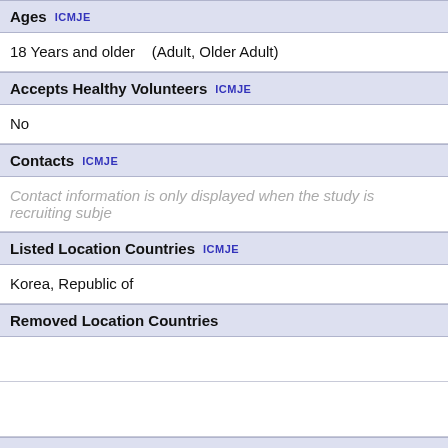Ages ICMJE
18 Years and older   (Adult, Older Adult)
Accepts Healthy Volunteers ICMJE
No
Contacts ICMJE
Contact information is only displayed when the study is recruiting subje
Listed Location Countries ICMJE
Korea, Republic of
Removed Location Countries
Administrative Information